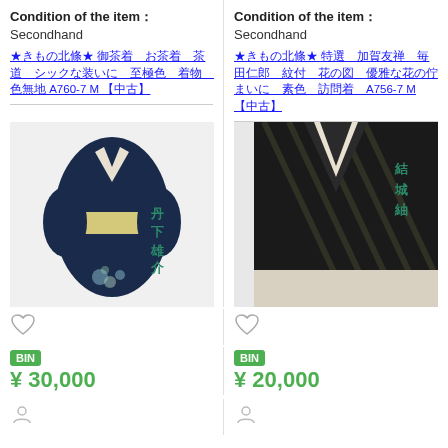Condition of the item：
Secondhhand
★きもの北條★ 御茶着　お茶着　茶道　シックな装いに　至極色　着物　色無地 A760-7 M 【中古】
Condition of the item：
Secondhand
★きもの北條★ 特選　加賀友禅　毎田仁郎　紋付　花の図　優雅な花の佇まいに　素色　訪問着　A756-7 M 【中古】
[Figure (photo): Navy blue kimono with floral embroidery and cream obi sash, with Japanese text overlay reading 丹下雄介]
[Figure (photo): Black kimono with diagonal stripe pattern and cream obi sash, with Japanese text overlay reading 結城紬]
BIN
¥ 30,000
BIN
¥ 20,000